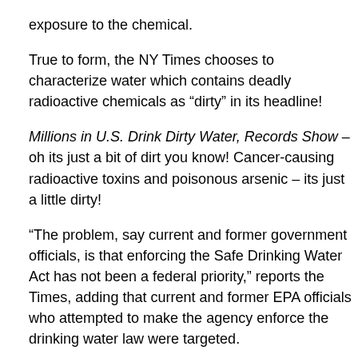exposure to the chemical.
True to form, the NY Times chooses to characterize water which contains deadly radioactive chemicals as “dirty” in its headline!
Millions in U.S. Drink Dirty Water, Records Show – oh its just a bit of dirt you know! Cancer-causing radioactive toxins and poisonous arsenic – its just a little dirty!
“The problem, say current and former government officials, is that enforcing the Safe Drinking Water Act has not been a federal priority,” reports the Times, adding that current and former EPA officials who attempted to make the agency enforce the drinking water law were targeted.
“I proposed drinking water cases, but they got shut down so fast that I’ve pretty much stopped even looking at the